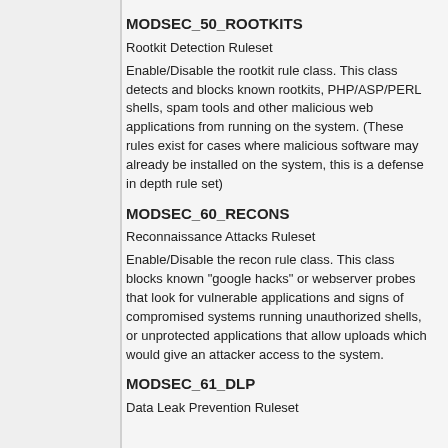MODSEC_50_ROOTKITS
Rootkit Detection Ruleset
Enable/Disable the rootkit rule class. This class detects and blocks known rootkits, PHP/ASP/PERL shells, spam tools and other malicious web applications from running on the system. (These rules exist for cases where malicious software may already be installed on the system, this is a defense in depth rule set)
MODSEC_60_RECONS
Reconnaissance Attacks Ruleset
Enable/Disable the recon rule class. This class blocks known "google hacks" or webserver probes that look for vulnerable applications and signs of compromised systems running unauthorized shells, or unprotected applications that allow uploads which would give an attacker access to the system.
MODSEC_61_DLP
Data Leak Prevention Ruleset